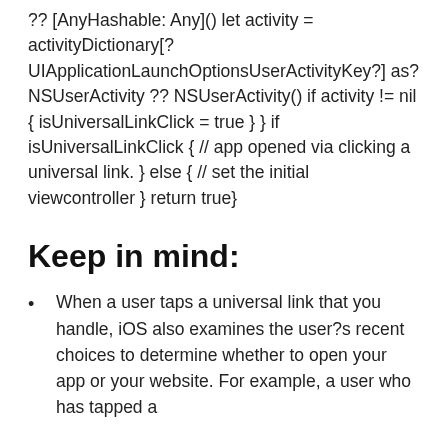?? [AnyHashable: Any]() let activity = activityDictionary[? UIApplicationLaunchOptionsUserActivityKey?] as? NSUserActivity ?? NSUserActivity() if activity != nil { isUniversalLinkClick = true } } if isUniversalLinkClick { // app opened via clicking a universal link. } else { // set the initial viewcontroller } return true}
Keep in mind:
When a user taps a universal link that you handle, iOS also examines the user?s recent choices to determine whether to open your app or your website. For example, a user who has tapped a